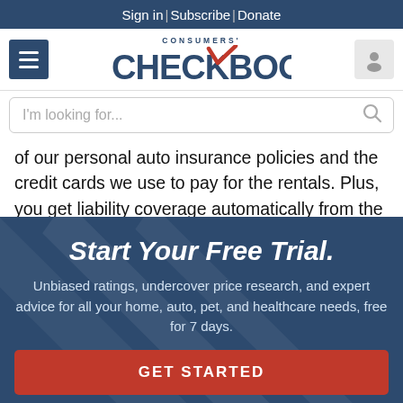Sign in | Subscribe | Donate
[Figure (logo): Consumers' Checkbook logo with red checkmark]
I'm looking for...
of our personal auto insurance policies and the credit cards we use to pay for the rentals. Plus, you get liability coverage automatically from the rental car companies
Start Your Free Trial.
Unbiased ratings, undercover price research, and expert advice for all your home, auto, pet, and healthcare needs, free for 7 days.
GET STARTED
NO THANKS, MAYBE LATER.